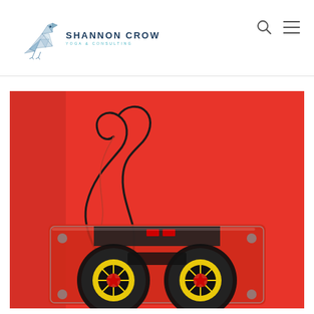[Figure (logo): Shannon Crow Yoga & Consulting logo with a geometric crow illustration in blue and the text SHANNON CROW / YOGA & CONSULTING]
[Figure (photo): A cassette tape with the magnetic tape pulled out forming a heart shape against a red background]